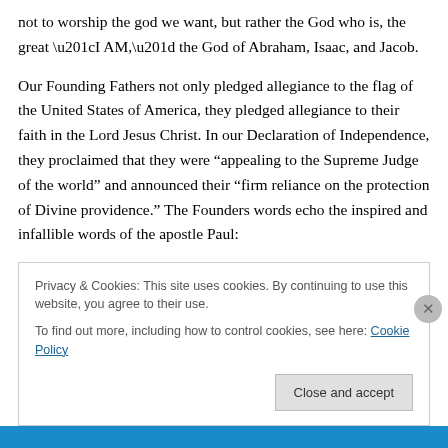not to worship the god we want, but rather the God who is, the great “I AM,” the God of Abraham, Isaac, and Jacob.
Our Founding Fathers not only pledged allegiance to the flag of the United States of America, they pledged allegiance to their faith in the Lord Jesus Christ. In our Declaration of Independence, they proclaimed that they were “appealing to the Supreme Judge of the world” and announced their “firm reliance on the protection of Divine providence.” The Founders words echo the inspired and infallible words of the apostle Paul:
Privacy & Cookies: This site uses cookies. By continuing to use this website, you agree to their use.
To find out more, including how to control cookies, see here: Cookie Policy